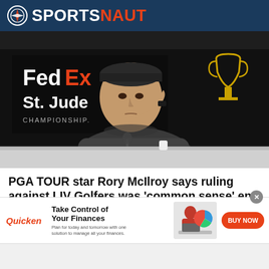SPORTSNAUT
[Figure (photo): Rory McIlroy sitting at a press conference table with FedEx St. Jude Championship backdrop, resting his cheek on his hand, looking contemplative]
PGA TOUR star Rory McIlroy says ruling against LIV Golfers was 'common sense' end to...
[Figure (other): Quicken advertisement banner: Take Control of Your Finances. Plan for today and tomorrow with one solution to manage all your finances. BUY NOW button.]